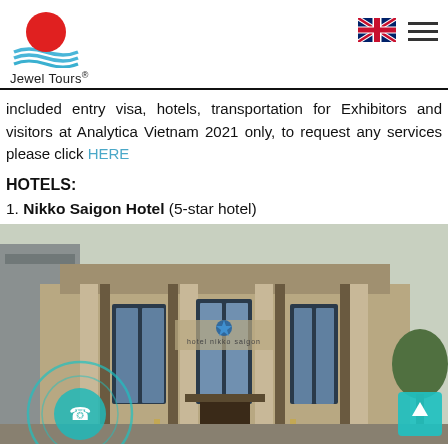Jewel Tours
included entry visa, hotels, transportation for Exhibitors and visitors at Analytica Vietnam 2021 only, to request any services please click HERE
HOTELS:
1. Nikko Saigon Hotel (5-star hotel)
[Figure (photo): Exterior photo of Hotel Nikko Saigon, a modern multi-story building with a beige stone facade, large glass panel windows, decorative columns, and the hotel name and logo visible above the entrance.]